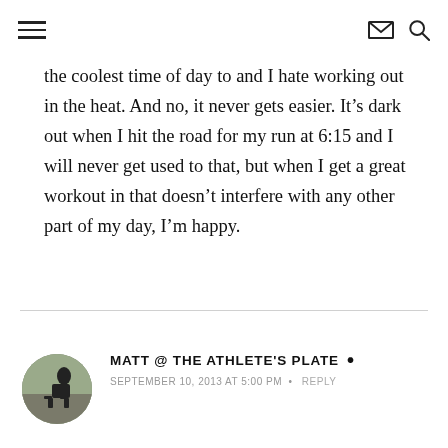Navigation header with hamburger menu, envelope icon, and search icon
the coolest time of day to and I hate working out in the heat. And no, it never gets easier. It’s dark out when I hit the road for my run at 6:15 and I will never get used to that, but when I get a great workout in that doesn’t interfere with any other part of my day, I’m happy.
MATT @ THE ATHLETE'S PLATE •
SEPTEMBER 10, 2013 AT 5:00 PM • REPLY